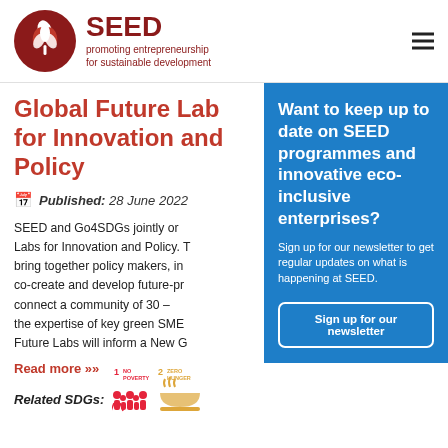SEED promoting entrepreneurship for sustainable development
Global Future Lab for Innovation and Policy
Published: 28 June 2022
SEED and Go4SDGs jointly or... Labs for Innovation and Policy. T... bring together policy makers, in... co-create and develop future-pr... connect a community of 30 – ... the expertise of key green SME... Future Labs will inform a New G...
Read more »
Want to keep up to date on SEED programmes and innovative eco-inclusive enterprises? Sign up for our newsletter to get regular updates on what is happening at SEED.
Sign up for our newsletter
Related SDGs:
[Figure (infographic): SDG icons: SDG 1 No Poverty and SDG 2 Zero Hunger with colored pictograms]